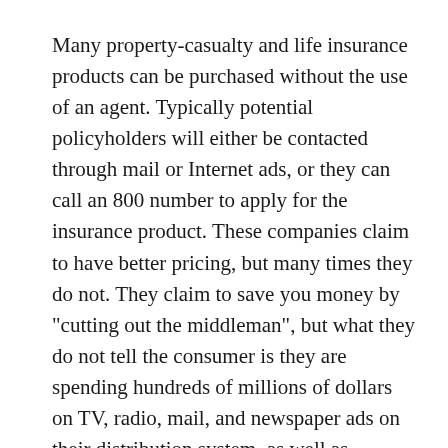Many property-casualty and life insurance products can be purchased without the use of an agent. Typically potential policyholders will either be contacted through mail or Internet ads, or they can call an 800 number to apply for the insurance product. These companies claim to have better pricing, but many times they do not. They claim to save you money by "cutting out the middleman", but what they do not tell the consumer is they are spending hundreds of millions of dollars on TV, radio, mail, and newspaper ads on their distribution system, as well as employee expenses. Instead of receiving personal, customized, quality local service from a highly trained insurance professional, the consumer is many times buying an inferior product that is based on price only and impersonal service from distant and minimally trained